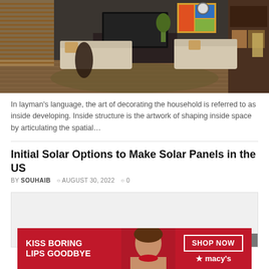[Figure (photo): Interior living room photo showing a modern home with wooden blinds, TV, sofa, colorful artwork, and hardwood floors]
In layman’s language, the art of decorating the household is referred to as inside developing. Inside structure is the artwork of shaping inside space by articulating the spatial...
Initial Solar Options to Make Solar Panels in the US
BY SOUHAIB  ○ AUGUST 30, 2022  ○ 0
[Figure (other): Gray placeholder box with a CLOSE button, likely an advertisement or modal overlay]
[Figure (other): Red Macy’s advertisement banner reading KISS BORING LIPS GOODBYE with SHOP NOW button and Macy’s star logo]